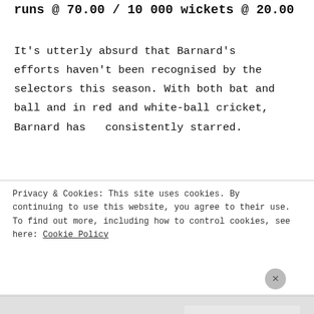runs @ 70.00 / 10 000 wickets @ 20.00
It's utterly absurd that Barnard's efforts haven't been recognised by the selectors this season. With both bat and ball and in red and white-ball cricket, Barnard has  consistently starred.
Ryan Higgins (Gloucestershire) 48 CC
wickets @ 18.38 / 195 ODC runs 65.00
Privacy & Cookies: This site uses cookies. By continuing to use this website, you agree to their use. To find out more, including how to control cookies, see here: Cookie Policy
Close and accept